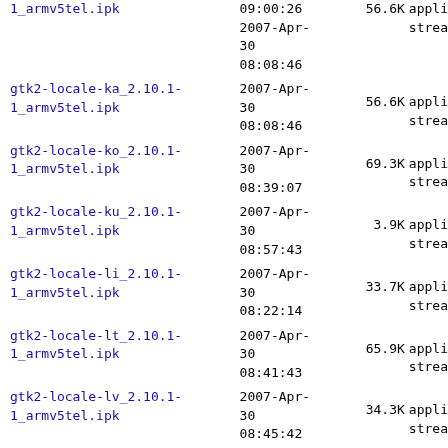1_armv5tel.ipk  09:00:26  2007-Apr-30 08:08:46  56.6K  appli strea
gtk2-locale-ka_2.10.1-1_armv5tel.ipk  2007-Apr-30 08:08:46  56.6K  appli strea
gtk2-locale-ko_2.10.1-1_armv5tel.ipk  2007-Apr-30 08:39:07  69.3K  appli strea
gtk2-locale-ku_2.10.1-1_armv5tel.ipk  2007-Apr-30 08:57:43  3.9K  appli strea
gtk2-locale-li_2.10.1-1_armv5tel.ipk  2007-Apr-30 08:22:14  33.7K  appli strea
gtk2-locale-lt_2.10.1-1_armv5tel.ipk  2007-Apr-30 08:41:43  65.9K  appli strea
gtk2-locale-lv_2.10.1-1_armv5tel.ipk  2007-Apr-30 08:45:42  34.3K  appli strea
gtk2-locale-mi_2.10.1-1_armv5tel.ipk  2007-Apr-30 08:12:26  8.4K  appli strea
gtk2-locale-mk_2.10.1-1_armv5tel.ipk  2007-Apr-30 08:44:19  72.1K  appli strea
gtk2-locale-ml_2.10.1-1_armv5tel.ipk  2007-Apr-30 08:21:21  17.4K  appli strea
gtk2-locale-mn_2.10.1-1_armv5tel.ipk  2007-Apr-30 08:54:22  46.8K  appli strea
gtk2-locale-mr_2.10.1-  2007-Apr-  appli